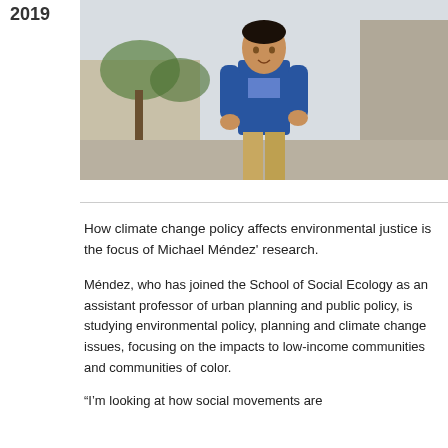2019
[Figure (photo): Man in blue blazer and khaki pants standing outdoors near a modern building with landscaping]
How climate change policy affects environmental justice is the focus of Michael Méndez' research.
Méndez, who has joined the School of Social Ecology as an assistant professor of urban planning and public policy, is studying environmental policy, planning and climate change issues, focusing on the impacts to low-income communities and communities of color.
“I’m looking at how social movements are